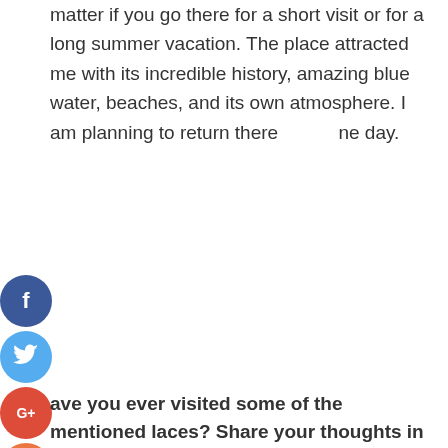matter if you go there for a short visit or for a long summer vacation. The place attracted me with its incredible history, amazing blue water, beaches, and its own atmosphere. I am planning to return there one day.
[Figure (other): Social media share buttons: Facebook (blue circle with f), Twitter (light blue circle with bird), Google+ (red circle with G+), StumbleUpon (orange circle with SU)]
Have you ever visited some of the mentioned places? Share your thoughts in the comment section below. I will be happy to hear from you.
We use cookies on our website to give you the most relevant experience by remembering your preferences and repeat visits. By clicking "Accept", you consent to the use of ALL the cookies.
Cookie settings   ACCEPT